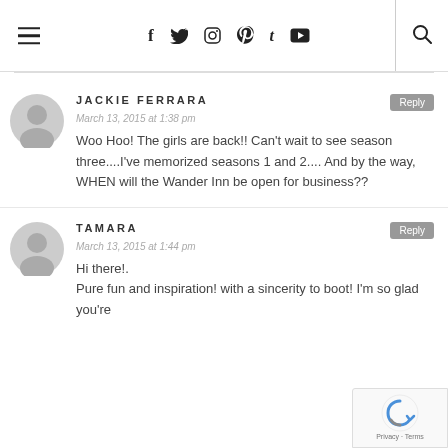Navigation bar with hamburger menu, social icons (f, twitter, instagram, pinterest, tumblr, youtube), and search icon
JACKIE FERRARA
March 13, 2015 at 1:38 pm
Woo Hoo! The girls are back!! Can't wait to see season three....I've memorized seasons 1 and 2.... And by the way, WHEN will the Wander Inn be open for business??
TAMARA
March 13, 2015 at 1:44 pm
Hi there!.
Pure fun and inspiration! with a sincerity to boot! I'm so glad you're